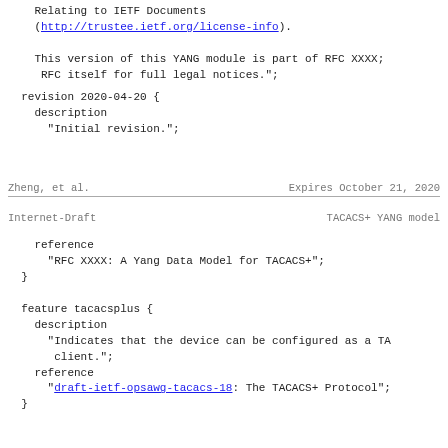Relating to IETF Documents
(http://trustee.ietf.org/license-info).

This version of this YANG module is part of RFC XXXX;
 RFC itself for full legal notices.";
revision 2020-04-20 {
  description
    "Initial revision.";
Zheng, et al.         Expires October 21, 2020
Internet-Draft              TACACS+ YANG model
reference
      "RFC XXXX: A Yang Data Model for TACACS+";
  }

  feature tacacsplus {
    description
      "Indicates that the device can be configured as a TA
       client.";
    reference
      "draft-ietf-opsawg-tacacs-18: The TACACS+ Protocol";
  }